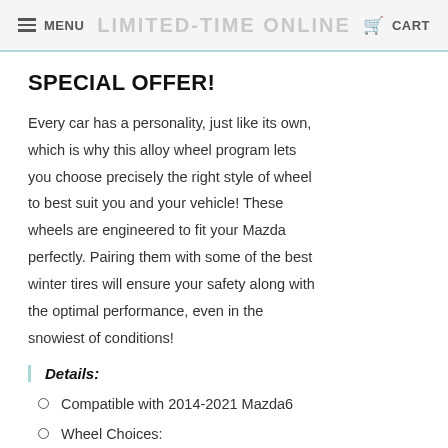MENU   LIMITED-TIME ONLINE   CART
SPECIAL OFFER!
Every car has a personality, just like its own, which is why this alloy wheel program lets you choose precisely the right style of wheel to best suit you and your vehicle! These wheels are engineered to fit your Mazda perfectly. Pairing them with some of the best winter tires will ensure your safety along with the optimal performance, even in the snowiest of conditions!
Details:
Compatible with 2014-2021 Mazda6
Wheel Choices: